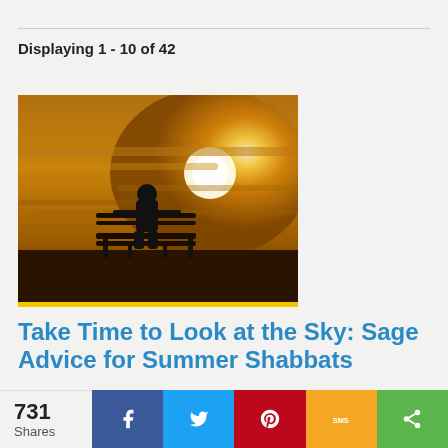Displaying 1 - 10 of 42
[Figure (photo): Silhouette of a person sitting on a bench at sunset, with golden sky and sun in background]
Take Time to Look at the Sky: Sage Advice for Summer Shabbats
By Rabbi Rick Schechter
731 Shares